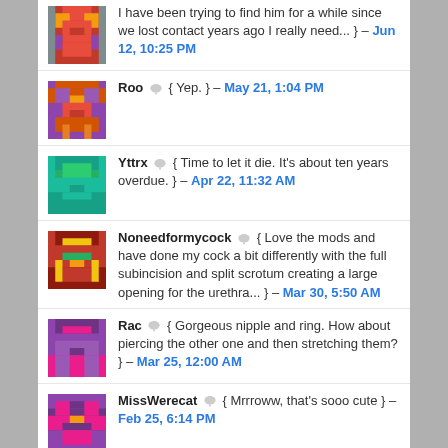I have been trying to find him for a while since we lost contact years ago I really need... } – Jun 12, 10:25 PM
Roo { Yep. } – May 21, 1:04 PM
Yttrx { Time to let it die. It's about ten years overdue. } – Apr 22, 11:32 AM
Noneedformycock { Love the mods and have done my cock a bit differently with the full subincision and split scrotum creating a large opening for the urethra... } – Mar 30, 5:50 AM
Rac { Gorgeous nipple and ring. How about piercing the other one and then stretching them? } – Mar 25, 12:00 AM
MissWerecat { Mrrroww, that's sooo cute } – Feb 25, 6:14 PM
Rowan, { Love,nullos. } – Dec 30, 10:11 PM